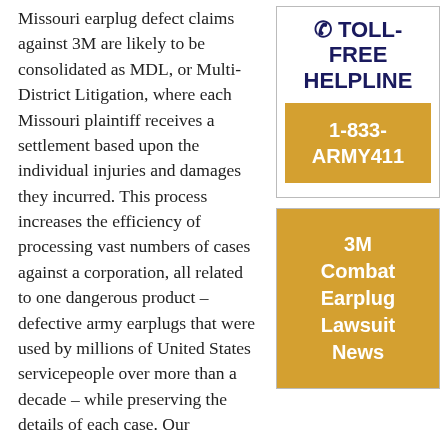Missouri earplug defect claims against 3M are likely to be consolidated as MDL, or Multi-District Litigation, where each Missouri plaintiff receives a settlement based upon the individual injuries and damages they incurred. This process increases the efficiency of processing vast numbers of cases against a corporation, all related to one dangerous product – defective army earplugs that were used by millions of United States servicepeople over more than a decade – while preserving the details of each case. Our
☎ TOLL-FREE HELPLINE
1-833-ARMY411
3M Combat Earplug Lawsuit News